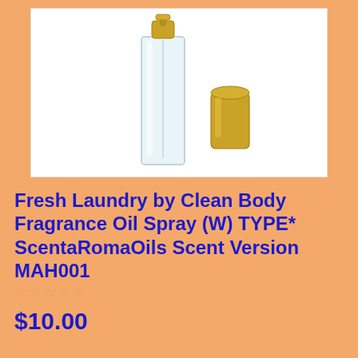[Figure (photo): A clear glass rectangular spray bottle with a gold pump top dispenser, and a separate gold cylindrical cap placed to the right of the bottle, on a white background.]
Fresh Laundry by Clean Body Fragrance Oil Spray (W) TYPE* ScentaRomaOils Scent Version MAH001
☆☆☆☆☆ Write a review
$10.00